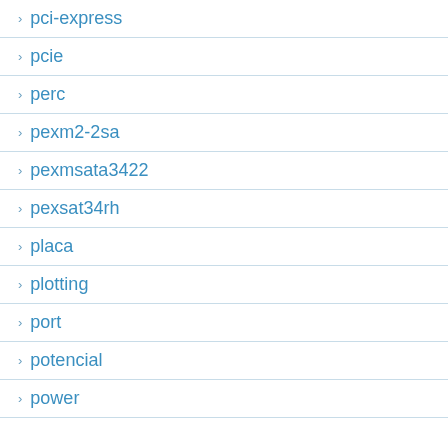pci-express
pcie
perc
pexm2-2sa
pexmsata3422
pexsat34rh
placa
plotting
port
potencial
power